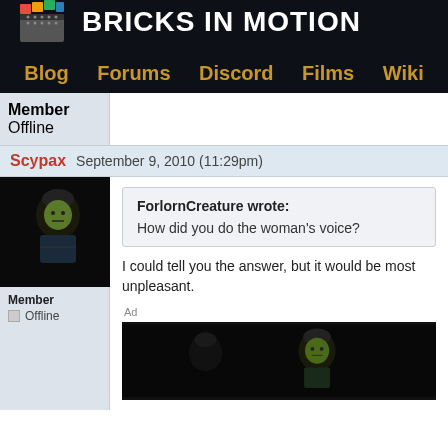BRICKS IN MOTION
Blog
Forums
Discord
Films
Wiki
Member
Offline
Scypax   September 9, 2010 (11:29pm)
ForlornCreature wrote:
How did you do the woman's voice?
I could tell you the answer, but it would be most unpleasant.
Ad
[Figure (photo): Dark screenshot showing a LEGO minifigure with dark hair against a black background]